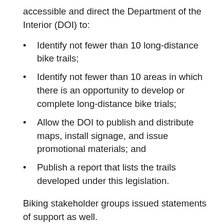accessible and direct the Department of the Interior (DOI) to:
Identify not fewer than 10 long-distance bike trails;
Identify not fewer than 10 areas in which there is an opportunity to develop or complete long-distance bike trials;
Allow the DOI to publish and distribute maps, install signage, and issue promotional materials; and
Publish a report that lists the trails developed under this legislation.
Biking stakeholder groups issued statements of support as well.